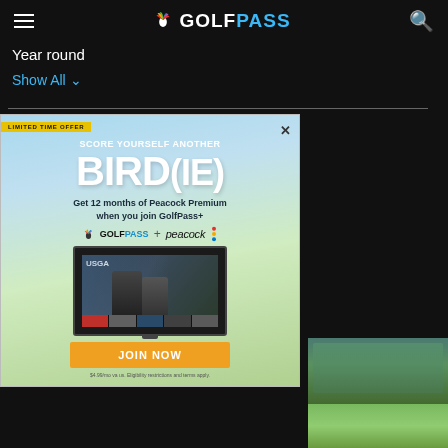GolfPass
Year round
Show All
[Figure (screenshot): GolfPass promotional advertisement popup. LIMITED TIME OFFER banner. Text: SCORE YOURSELF ANOTHER BIRD(IE). Get 12 months of Peacock Premium when you join GolfPass+. GolfPass + peacock logos. TV screen showing USGA golf content. JOIN NOW button. Fine print: $4.99/mo va us. Eligibility restrictions and terms apply.]
[Figure (photo): Golf course green with trees in background, outdoor daytime photo]